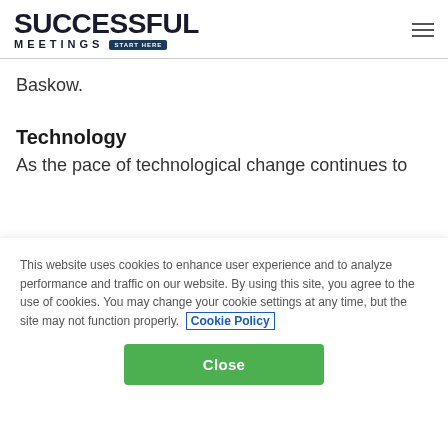SUCCESSFUL MEETINGS START HERE
Baskow.
Technology
As the pace of technological change continues to
This website uses cookies to enhance user experience and to analyze performance and traffic on our website. By using this site, you agree to the use of cookies. You may change your cookie settings at any time, but the site may not function properly. Cookie Policy
Close